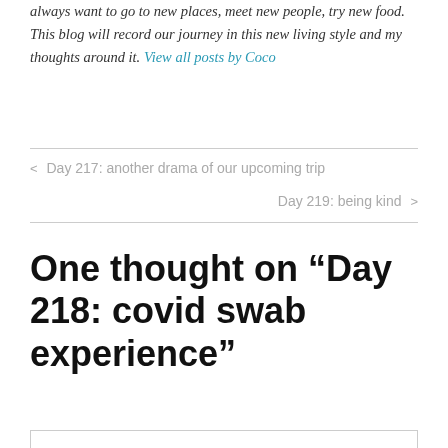always want to go to new places, meet new people, try new food. This blog will record our journey in this new living style and my thoughts around it. View all posts by Coco
< Day 217: another drama of our upcoming trip
Day 219: being kind >
One thought on “Day 218: covid swab experience”